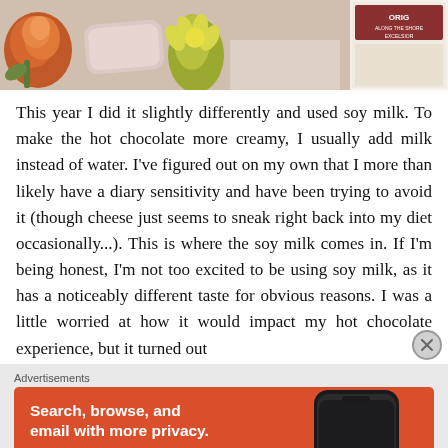[Figure (photo): Partial photo showing a rose flower, pink soap bar, yellow flower, and a product box (labeled ORIG...) arranged on a white surface]
This year I did it slightly differently and used soy milk. To make the hot chocolate more creamy, I usually add milk instead of water. I've figured out on my own that I more than likely have a diary sensitivity and have been trying to avoid it (though cheese just seems to sneak right back into my diet occasionally...). This is where the soy milk comes in. If I'm being honest, I'm not too excited to be using soy milk, as it has a noticeably different taste for obvious reasons. I was a little worried at how it would impact my hot chocolate experience, but it turned out
Advertisements
[Figure (screenshot): DuckDuckGo advertisement banner with orange background. Text reads: Search, browse, and email with more privacy. All in One Free App. Shows DuckDuckGo logo and a smartphone image.]